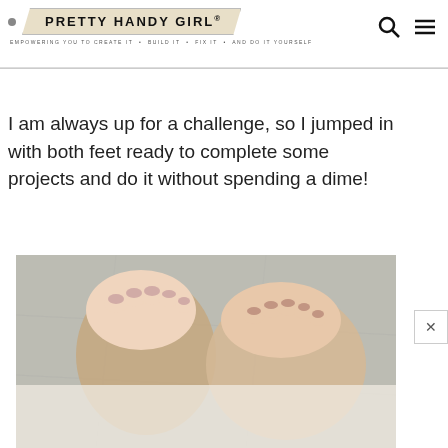PRETTY HANDY GIRL® — EMPOWERING YOU TO CREATE IT • BUILD IT • FIX IT • AND DO IT YOURSELF
I am always up for a challenge, so I jumped in with both feet ready to complete some projects and do it without spending a dime!
[Figure (photo): Close-up photo of a person's feet wearing tan/nude sandals, standing on a concrete or stone surface. The toes have light pink/mauve nail polish. A semi-transparent white overlay banner covers the lower portion of the image.]